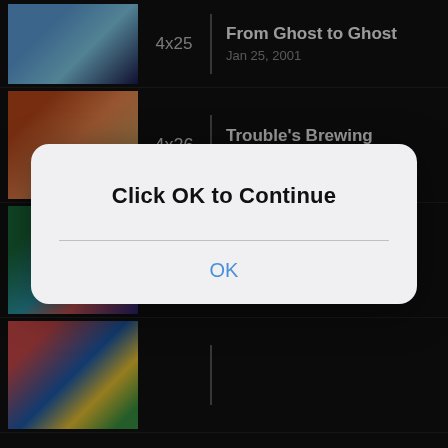[Figure (screenshot): TV show episode list on dark background with thumbnails, episode numbers, titles and dates. Episodes shown: 4x25 From Ghost to Ghost (Jan 25, 2001), 4x26 Trouble's Brewing (Feb 01, 2001), 4x27 All That Glitters! (Feb 08, 2001), 4x28 (partially hidden), 4x29 UNBEARable (Feb 22, 2001), 4x30 Moving Pictures (Mar 01, 2001), 4x31 Spring Fever (Mar 08, 2001). Overlaid by a modal dialog reading 'Click OK to Continue' with OK button.]
Click OK to Continue
OK